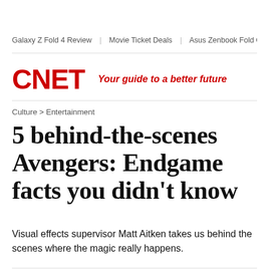Galaxy Z Fold 4 Review  |  Movie Ticket Deals  |  Asus Zenbook Fold OLI
CNET  Your guide to a better future
Culture > Entertainment
5 behind-the-scenes Avengers: Endgame facts you didn't know
Visual effects supervisor Matt Aitken takes us behind the scenes where the magic really happens.